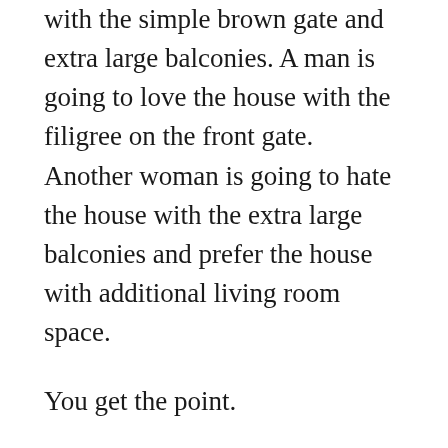with the simple brown gate and extra large balconies. A man is going to love the house with the filigree on the front gate. Another woman is going to hate the house with the extra large balconies and prefer the house with additional living room space.
You get the point.
While these houses appear roughly similar from the outside, visitors quickly assess which property is right for them based on their personal preferences.
The same thing happens when people search